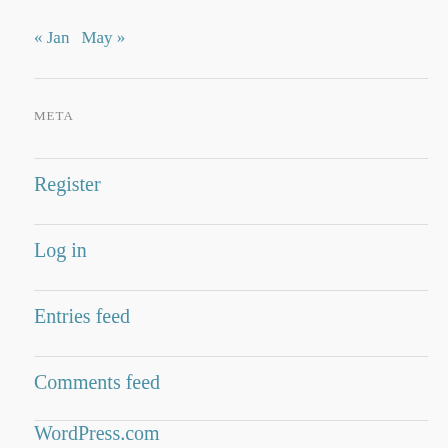« Jan   May »
META
Register
Log in
Entries feed
Comments feed
WordPress.com